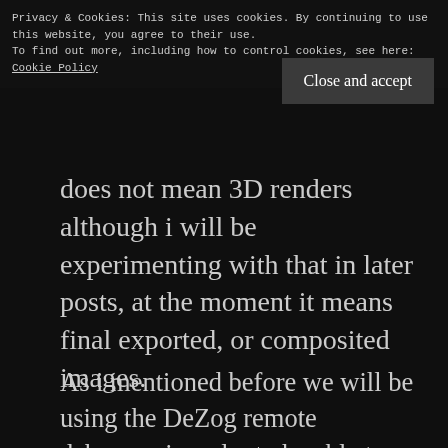. . . . . . . .
Privacy & Cookies: This site uses cookies. By continuing to use this website, you agree to their use.
To find out more, including how to control cookies, see here:
Cookie Policy
Close and accept
does not mean 3D renders although i will be experimenting with that in later posts, at the moment it means final exported, or composited images.
As i mentioned before we will be using the DeZog remote debugger in order to be able to debug from visual studio code and to make that work we can't use the snasm assembler, therefore we will be using Sjasmplus.